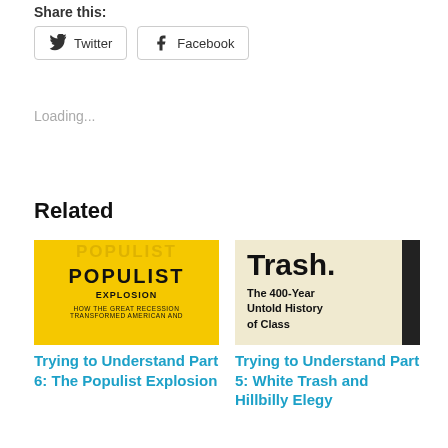Share this:
Twitter  Facebook
Loading...
Related
[Figure (photo): Book cover: Populist Explosion - How the Great Recession Transformed American and... Yellow cover with bold text.]
Trying to Understand Part 6: The Populist Explosion
[Figure (photo): Book cover: Trash. The 400-Year Untold History of Class. Cream/beige cover with black text.]
Trying to Understand Part 5: White Trash and Hillbilly Elegy